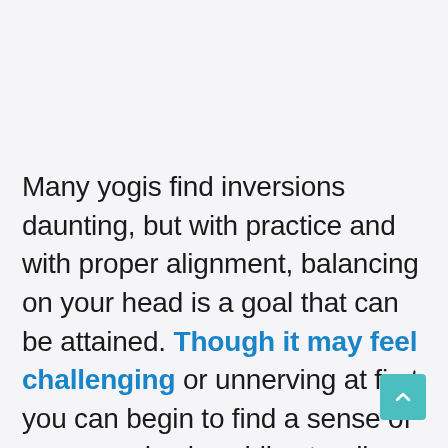Many yogis find inversions daunting, but with practice and with proper alignment, balancing on your head is a goal that can be attained. Though it may feel challenging or unnerving at first, you can begin to find a sense of peace and calm while standing on your head.